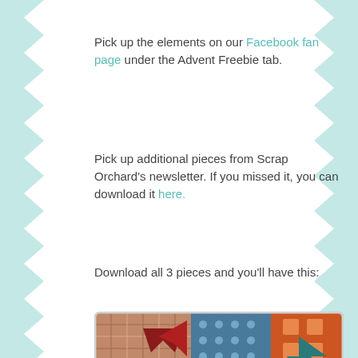Pick up the elements on our Facebook fan page under the Advent Freebie tab.
Pick up additional pieces from Scrap Orchard's newsletter. If you missed it, you can download it here.
Download all 3 pieces and you'll have this:
[Figure (photo): A colorful winter-themed digital scrapbook kit showing flowers, a fox, stars, hearts, banners with text 'COLD HANDS, WARM HEART', 'Walking in a Winter Wonderland', 'BRR!', 'CHILL', 'you warm my heart' on a decorative background.]